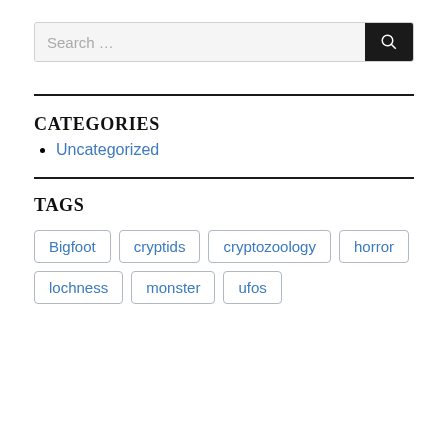[Figure (screenshot): Search input box with placeholder 'Search ...' and a dark search button with magnifying glass icon]
CATEGORIES
Uncategorized
TAGS
Bigfoot, cryptids, cryptozoology, horror, lochness, monster, ufos